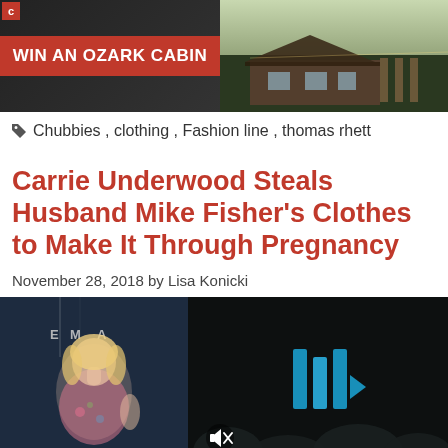[Figure (photo): Advertisement banner: WIN AN OZARK CABIN text on red button with dark background left side, cabin/lodge photo on right side]
Chubbies , clothing , Fashion line , thomas rhett
Carrie Underwood Steals Husband Mike Fisher's Clothes to Make It Through Pregnancy
November 28, 2018 by Lisa Konicki
[Figure (photo): Left: celebrity at event with dark backdrop showing partial text. Right: video player with blue geometric play icon and mute icon on dark background.]